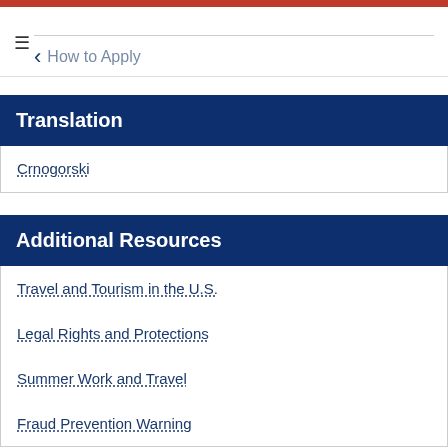≡  How to Apply
Translation
Crnogorski
Additional Resources
Travel and Tourism in the U.S.
Legal Rights and Protections
Summer Work and Travel
Fraud Prevention Warning